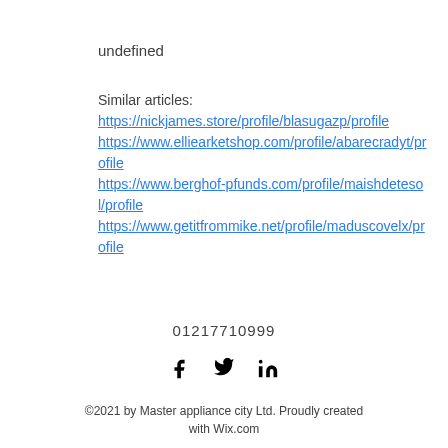undefined
Similar articles:
https://nickjames.store/profile/blasugazp/profile
https://www.elliearketshop.com/profile/abarecradyt/profile
https://www.berghof-pfunds.com/profile/maishdetesol/profile
https://www.getitfrommike.net/profile/maduscovelx/profile
01217710999
[Figure (infographic): Social media icons: Facebook, Twitter, LinkedIn]
©2021 by Master appliance city Ltd. Proudly created with Wix.com